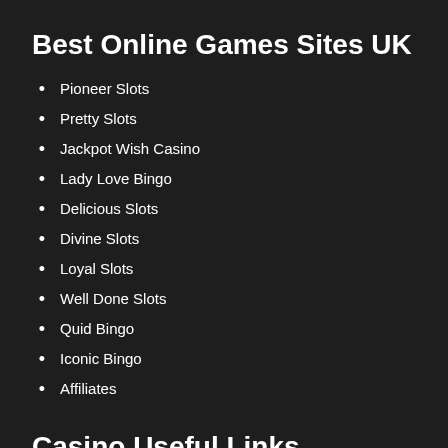Best Online Games Sites UK
Pioneer Slots
Pretty Slots
Jackpot Wish Casino
Lady Love Bingo
Delicious Slots
Divine Slots
Loyal Slots
Well Done Slots
Quid Bingo
Iconic Bingo
Affiliates
Casino Useful Links
New Casino Sites UK
New Slot Sites UK
New Bingo Sites UK